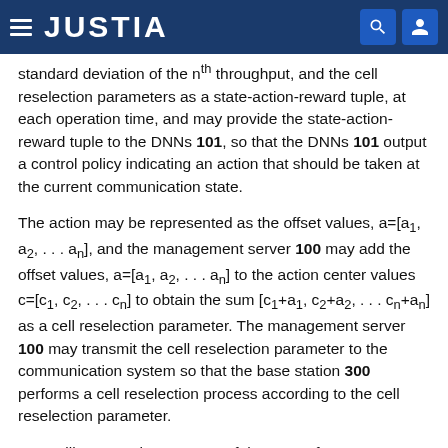JUSTIA
standard deviation of the n-th throughput, and the cell reselection parameters as a state-action-reward tuple, at each operation time, and may provide the state-action-reward tuple to the DNNs 101, so that the DNNs 101 output a control policy indicating an action that should be taken at the current communication state.
The action may be represented as the offset values, a=[a1, a2, . . . an], and the management server 100 may add the offset values, a=[a1, a2, . . . an] to the action center values c=[c1, c2, . . . cn] to obtain the sum [c1+a1, c2+a2, . . . cn+an] as a cell reselection parameter. The management server 100 may transmit the cell reselection parameter to the communication system so that the base station 300 performs a cell reselection process according to the cell reselection parameter.
FIG. 7 illustrates the structure of the DNN of FIG. 6,